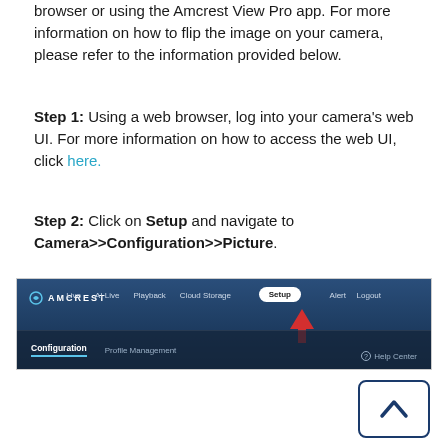browser or using the Amcrest View Pro app. For more information on how to flip the image on your camera, please refer to the information provided below.
Step 1: Using a web browser, log into your camera's web UI. For more information on how to access the web UI, click here.
Step 2: Click on Setup and navigate to Camera>>Configuration>>Picture.
[Figure (screenshot): Amcrest camera web UI navigation bar showing the Setup button highlighted with a red arrow, and sub-menu showing Configuration and Profile Management tabs.]
[Figure (other): Scroll up button icon — a box with an upward chevron arrow.]